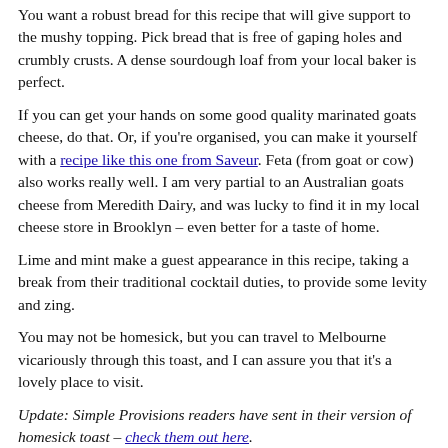You want a robust bread for this recipe that will give support to the mushy topping. Pick bread that is free of gaping holes and crumbly crusts. A dense sourdough loaf from your local baker is perfect.
If you can get your hands on some good quality marinated goats cheese, do that. Or, if you're organised, you can make it yourself with a recipe like this one from Saveur. Feta (from goat or cow) also works really well. I am very partial to an Australian goats cheese from Meredith Dairy, and was lucky to find it in my local cheese store in Brooklyn – even better for a taste of home.
Lime and mint make a guest appearance in this recipe, taking a break from their traditional cocktail duties, to provide some levity and zing.
You may not be homesick, but you can travel to Melbourne vicariously through this toast, and I can assure you that it's a lovely place to visit.
Update: Simple Provisions readers have sent in their version of homesick toast – check them out here.
Homesick Toast (Avocado and Goats Cheese with Lime on Toast)